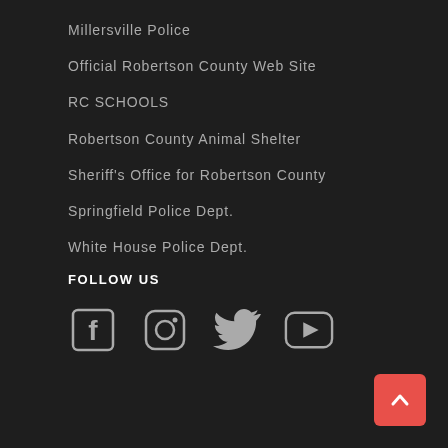Millersville Police
Official Robertson County Web Site
RC SCHOOLS
Robertson County Animal Shelter
Sheriff's Office for Robertson County
Springfield Police Dept.
White House Police Dept.
FOLLOW US
[Figure (infographic): Social media icons: Facebook, Instagram, Twitter, YouTube]